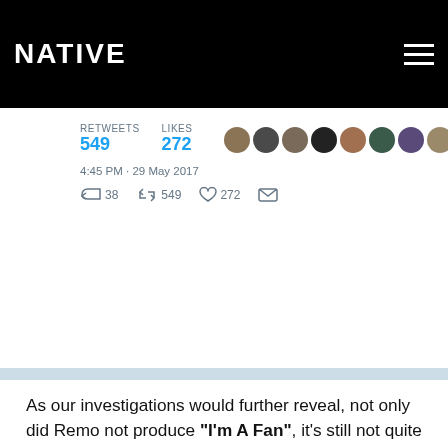NATIVE
[Figure (screenshot): Screenshot of a tweet showing text: '...and their dumb ass reporters... Don't publish... nothing about, do ur research atleast...' with 549 retweets, 272 likes, timestamp 4:45 PM - 29 May 2017, and tweet action icons.]
As our investigations would further reveal, not only did Remo not produce “I’m A Fan”, it’s still not quite clear who owns the actual songwriting credits for the same hook both Pia Mia and Phyno’s version share. According to reports “I’m A Fan” was originally made by Yung Berg who is also known as Hitmaka and Samuel Jimenez Person also known as Smash David. While it still unclear who handed off the song to either Pia or Phyno, we know for a fact that Smash, Hitmaka and Jeremih (who is featured on the Pia’s version) have worked together